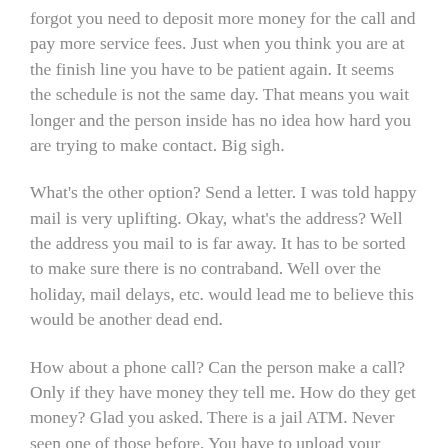forgot you need to deposit more money for the call and pay more service fees. Just when you think you are at the finish line you have to be patient again. It seems the schedule is not the same day. That means you wait longer and the person inside has no idea how hard you are trying to make contact. Big sigh.
What's the other option? Send a letter. I was told happy mail is very uplifting. Okay, what's the address? Well the address you mail to is far away. It has to be sorted to make sure there is no contraband. Well over the holiday, mail delays, etc. would lead me to believe this would be another dead end.
How about a phone call? Can the person make a call? Only if they have money they tell me. How do they get money? Glad you asked. There is a jail ATM. Never seen one of those before. You have to upload your picture, your social security number, address and so much more. Then you can pay